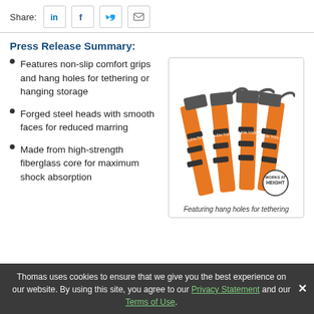Share:
Press Release Summary:
Features non-slip comfort grips and hang holes for tethering or hanging storage
Forged steel heads with smooth faces for reduced marring
Made from high-strength fiberglass core for maximum shock absorption
[Figure (photo): Four orange and black Klein Tools hammers with fiberglass handles displayed together, showing hang holes for tethering. A 'Works at Height' logo badge is visible in the lower right.]
Featuring hang holes for tethering
Thomas uses cookies to ensure that we give you the best experience on our website. By using this site, you agree to our Privacy Statement and our Terms of Use.